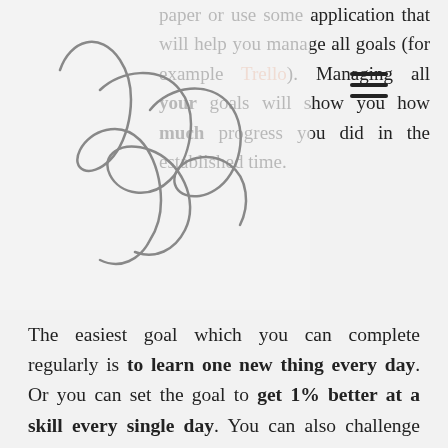paper or use some application that will help you manage all goals (for example Trello). Managing all your goals will show you how much progress you did in the established time.
The easiest goal which you can complete regularly is to learn one new thing every day. Or you can set the goal to get 1% better at a skill every single day. You can also challenge yourself to read on a daily basis. All your goals depend on your needs.
Self-education should be a commitment! Make sure to fit it in your schedule as a daily activity with